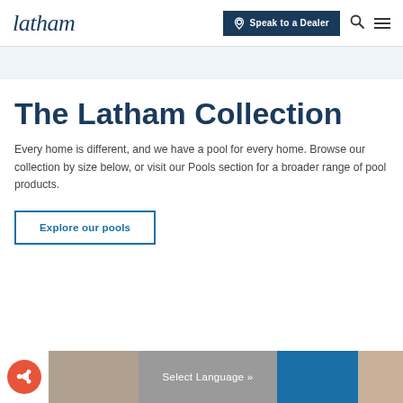latham | Speak to a Dealer
The Latham Collection
Every home is different, and we have a pool for every home. Browse our collection by size below, or visit our Pools section for a broader range of pool products.
Explore our pools
Select Language »